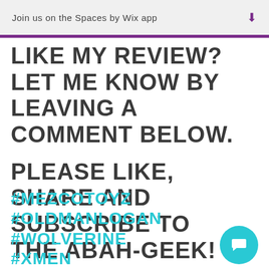Join us on the Spaces by Wix app
LIKE MY REVIEW? LET ME KNOW BY LEAVING A COMMENT BELOW.

PLEASE LIKE, SHARE AND SUBSCRIBE TO THE ABAH-GEEK!
#MEZCOTOYZ #OLDMANLOGAN #WOLVERINE #XMEN